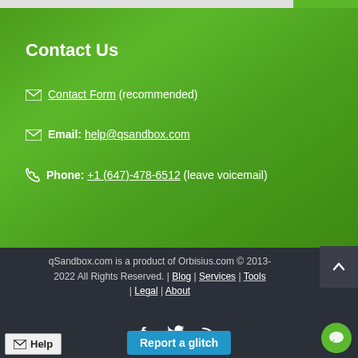Contact Us
Contact Form (recommended)
Email: help@qsandbox.com
Phone: +1 (647)-478-6512 (leave voicemail)
qSandbox.com is a product of Orbisius.com © 2013-2022 All Rights Reserved. | Blog | Services | Tools | Legal | About
[Figure (screenshot): Help button, Report a glitch button, chat bubble button, social media icons (Facebook, Twitter, RSS)]